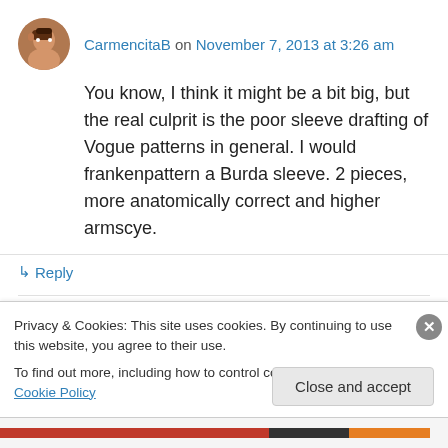CarmencitaB on November 7, 2013 at 3:26 am
You know, I think it might be a bit big, but the real culprit is the poor sleeve drafting of Vogue patterns in general. I would frankenpattern a Burda sleeve. 2 pieces, more anatomically correct and higher armscye.
↳ Reply
Beth (SunnyCal Studio) on November 7, 2013 at
Privacy & Cookies: This site uses cookies. By continuing to use this website, you agree to their use.
To find out more, including how to control cookies, see here: Cookie Policy
Close and accept